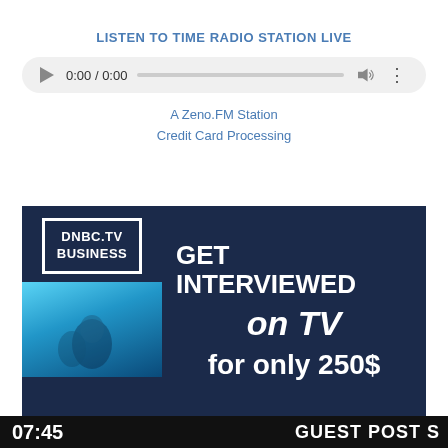LISTEN TO TIME RADIO STATION LIVE
[Figure (screenshot): Audio player widget with play button, time display 0:00 / 0:00, progress bar, volume icon, and options icon on a light gray rounded pill background]
A Zeno.FM Station
Credit Card Processing
[Figure (infographic): Advertisement banner with dark navy background. Left side shows DNBC.TV BUSINESS logo in white box and a TV screen image with blue tones showing silhouettes. Right side shows white bold text: GET INTERVIEWED on TV for only 250$]
07:45	GUEST POST S